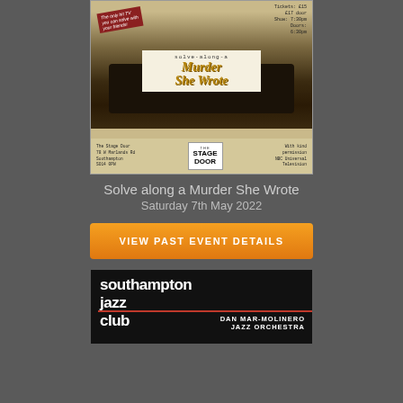[Figure (illustration): Promotional poster for 'Solve-along-a Murder She Wrote' event at The Stage Door, Southampton. Features a woman in vintage detective style holding a magnifying glass over a typewriter. Text includes: solve-along-a Murder She Wrote, Tickets: £15, £17 door, Show: 7:30pm, Doors: 6:30pm, The Stage Door, 78 W Marlands Rd, Southampton, SO14 0PW, With kind permission NBC Universal Television.]
Solve along a Murder She Wrote
Saturday 7th May 2022
VIEW PAST EVENT DETAILS
[Figure (illustration): Promotional poster for Southampton Jazz Club featuring Dan Mar-Molinero Jazz Orchestra. Dark background with bold white text and a red horizontal bar.]